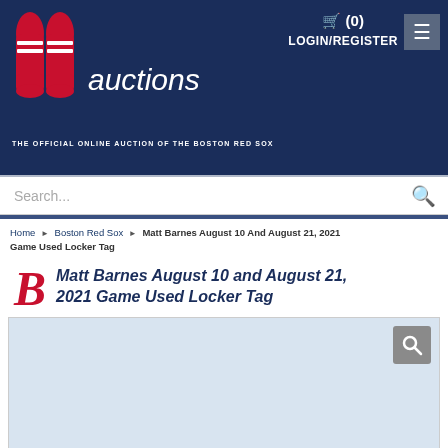Boston Red Sox Auctions — THE OFFICIAL ONLINE AUCTION OF THE BOSTON RED SOX | (0) LOGIN/REGISTER
Search...
Home ▶ Boston Red Sox ▶ Matt Barnes August 10 And August 21, 2021 Game Used Locker Tag
Matt Barnes August 10 and August 21, 2021 Game Used Locker Tag
[Figure (photo): Product image area showing auction item photo with magnify button, blue background, and bottom strip with Boston Red Sox branding]